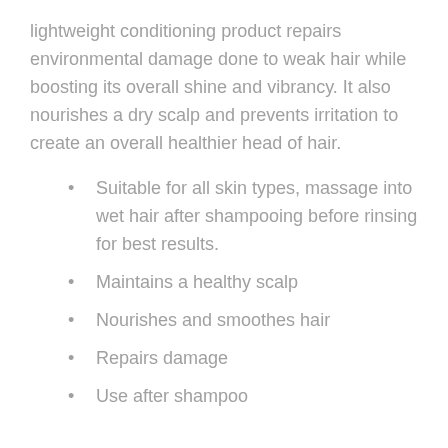lightweight conditioning product repairs environmental damage done to weak hair while boosting its overall shine and vibrancy. It also nourishes a dry scalp and prevents irritation to create an overall healthier head of hair.
Suitable for all skin types, massage into wet hair after shampooing before rinsing for best results.
Maintains a healthy scalp
Nourishes and smoothes hair
Repairs damage
Use after shampoo